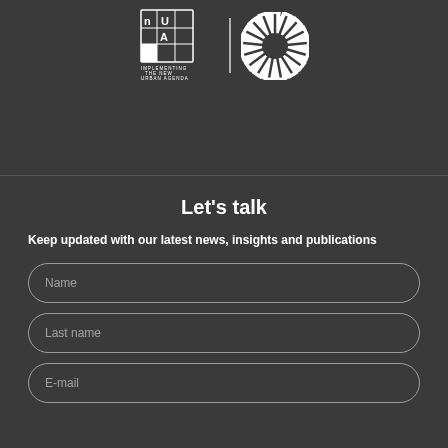[Figure (logo): NUA - Implementing the New Urban Agenda logo (white grid/building icon with text) and UN SDG wheel logo side by side on dark background]
Let's talk
Keep updated with our latest news, insights and publications
Name
Last name
E-mail